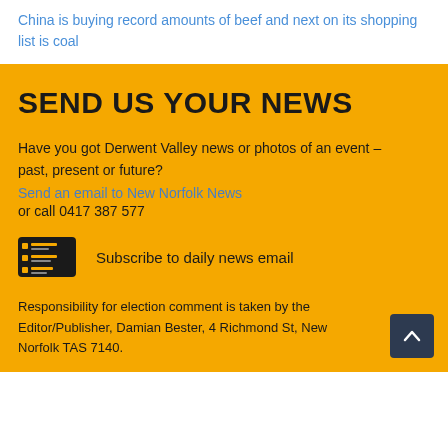China is buying record amounts of beef and next on its shopping list is coal
SEND US YOUR NEWS
Have you got Derwent Valley news or photos of an event – past, present or future?
Send an email to New Norfolk News
or call 0417 387 577
Subscribe to daily news email
Responsibility for election comment is taken by the Editor/Publisher, Damian Bester, 4 Richmond St, New Norfolk TAS 7140.